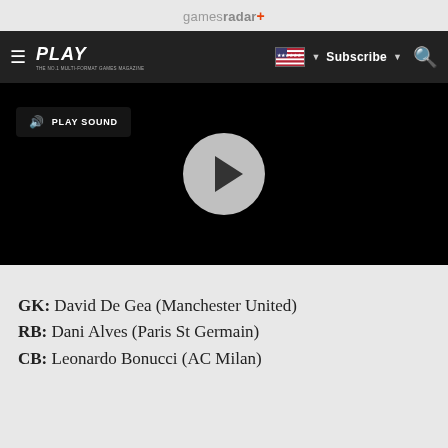gamesradar+
[Figure (screenshot): Navigation bar with hamburger menu, PLAY magazine logo, US flag dropdown, Subscribe button, and search icon on dark background]
[Figure (screenshot): Black video player with PLAY SOUND button and large circular grey play button in center]
GK: David De Gea (Manchester United)
RB: Dani Alves (Paris St Germain)
CB: Leonardo Bonucci (AC Milan)